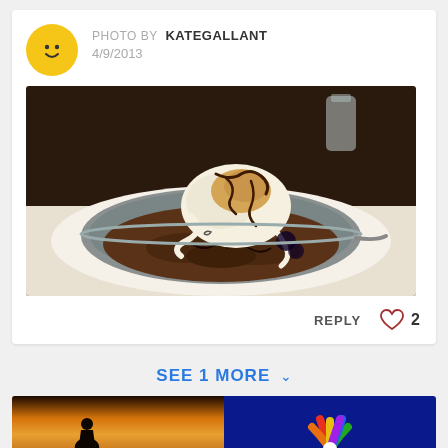PHOTO BY KATEGALLANT
4/9/2013
[Figure (photo): A chocolate brownie or cookie dessert in a round metal pan, topped with a scoop of ice cream and chocolate sauce drizzle, served on a white napkin]
REPLY  ♡ 2
SEE 1 MORE ∨
[Figure (photo): Bottom banner split in two: left side shows Anthony Bourdain Parts Unknown TV show promo with silhouette of person against sunset; right side shows a colorful logo on dark blue background]